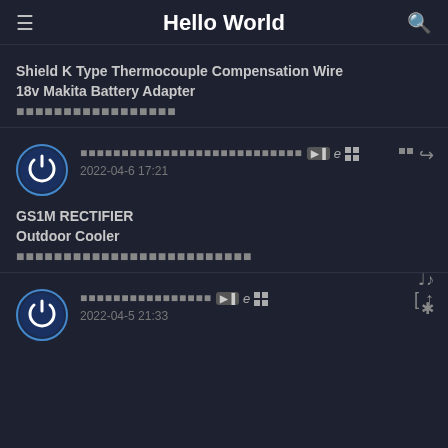Hello World
Shield K Type Thermocouple Compensation Wire
18v Makita Battery Adapter
■■■■■■■■■■■■■■■■■
■■■■■■■■■■■■■■■■■■■■■■■■■■■ 2022-04-6 17:21
GS1M RECTIFIER
Outdoor Cooler
■■■■■■■■■■■■■■■■■■■■■■■■■
■■■■■■■■■■■■■■■■ 2022-04-5 21:33